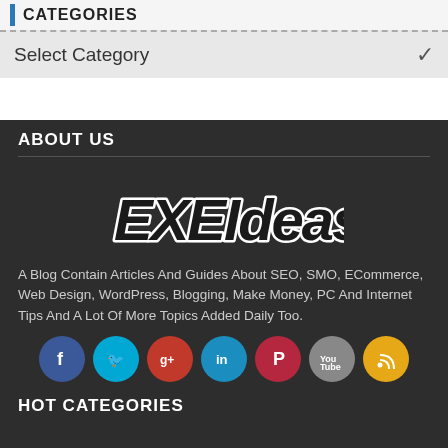CATEGORIES
Select Category
ABOUT US
[Figure (logo): EXEIdeas logo in stylized graffiti font with white outline on dark background]
A Blog Contain Articles And Guides About SEO, SMO, ECommerce, Web Design, WordPress, Blogging, Make Money, PC And Internet Tips And A Lot Of More Topics Added Daily Too.
[Figure (infographic): Social media icons row: Facebook, Twitter, Google+, LinkedIn, Pinterest, YouTube, RSS]
HOT CATEGORIES